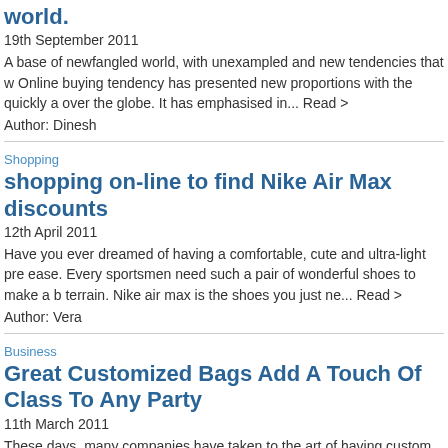world.
19th September 2011
A base of newfangled world, with unexampled and new tendencies that w Online buying tendency has presented new proportions with the quickly a over the globe. It has emphasised in... Read >
Author: Dinesh
Shopping
shopping on-line to find Nike Air Max discounts
12th April 2011
Have you ever dreamed of having a comfortable, cute and ultra-light pre ease. Every sportsmen need such a pair of wonderful shoes to make a b terrain. Nike air max is the shoes you just ne... Read >
Author: Vera
Business
Great Customized Bags Add A Touch Of Class To Any Party
11th March 2011
These days, many companies have taken to the art of having custom ba and address on to give away to customers. Event bags too are designed seminar, for example, to carry away all the bits an... Read >
Author: Stewart Wrighter